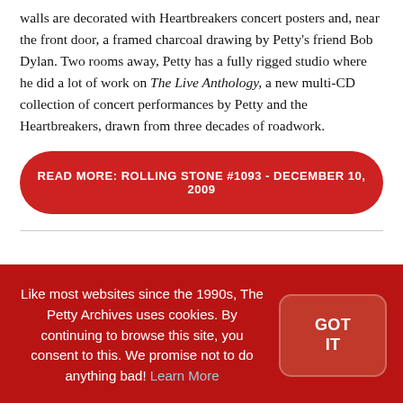walls are decorated with Heartbreakers concert posters and, near the front door, a framed charcoal drawing by Petty's friend Bob Dylan. Two rooms away, Petty has a fully rigged studio where he did a lot of work on The Live Anthology, a new multi-CD collection of concert performances by Petty and the Heartbreakers, drawn from three decades of roadwork.
READ MORE: ROLLING STONE #1093 - DECEMBER 10, 2009
Like most websites since the 1990s, The Petty Archives uses cookies. By continuing to browse this site, you consent to this. We promise not to do anything bad! Learn More